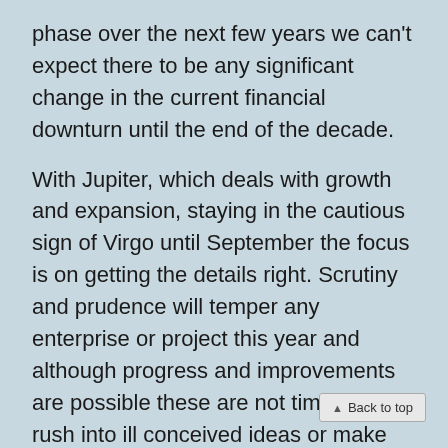phase over the next few years we can't expect there to be any significant change in the current financial downturn until the end of the decade.
With Jupiter, which deals with growth and expansion, staying in the cautious sign of Virgo until September the focus is on getting the details right. Scrutiny and prudence will temper any enterprise or project this year and although progress and improvements are possible these are not times to rush into ill conceived ideas or make deals on a hopeful promise that it will come to good. There are